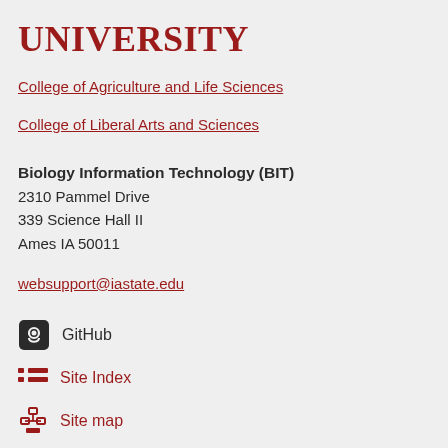UNIVERSITY
College of Agriculture and Life Sciences
College of Liberal Arts and Sciences
Biology Information Technology (BIT)
2310 Pammel Drive
339 Science Hall II
Ames IA 50011
websupport@iastate.edu
GitHub
Site Index
Site map